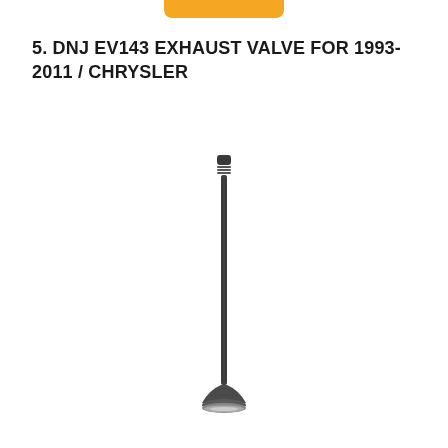[Figure (other): Orange/yellow button or badge at the very top center of the page, partially cropped]
5. DNJ EV143 EXHAUST VALVE FOR 1993-2011 / CHRYSLER
[Figure (photo): Photo of a DNJ EV143 exhaust valve — a long slender dark grey metal engine valve with a small cylindrical keeper groove tip at the top and a wider flat disc-shaped head (tulip) at the bottom, shown vertically centered on white background]